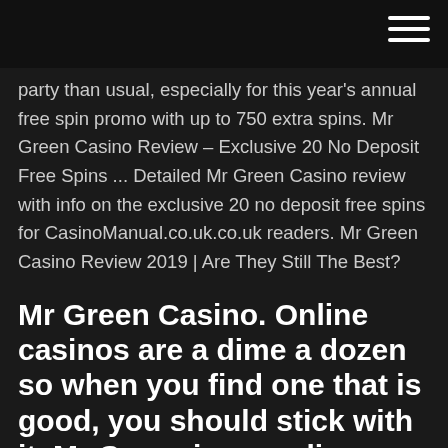party than usual, especially for this year's annual free spin promo with up to 750 extra spins. Mr Green Casino Review – Exclusive 20 No Deposit Free Spins ... Detailed Mr Green Casino review with info on the exclusive 20 no deposit free spins for CasinoManual.co.uk.co.uk readers. Mr Green Casino Review 2019 | Are They Still The Best?
Mr Green Casino. Online casinos are a dime a dozen so when you find one that is good, you should stick with it. Mr Green is an online casino that offer everyone that open a free casino player account a 10 free spins no